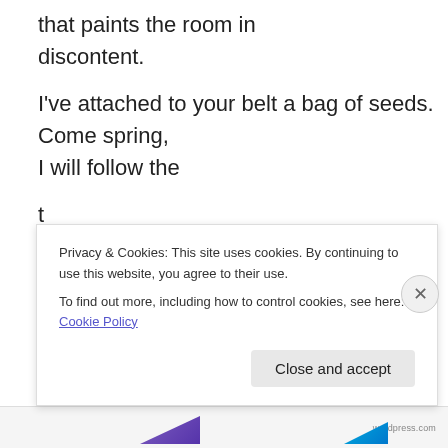that paints the room in discontent.
I've attached to your belt a bag of seeds.
Come spring,
I will follow the
t
r
a
i
l
Privacy & Cookies: This site uses cookies. By continuing to use this website, you agree to their use.
To find out more, including how to control cookies, see here: Cookie Policy
Close and accept